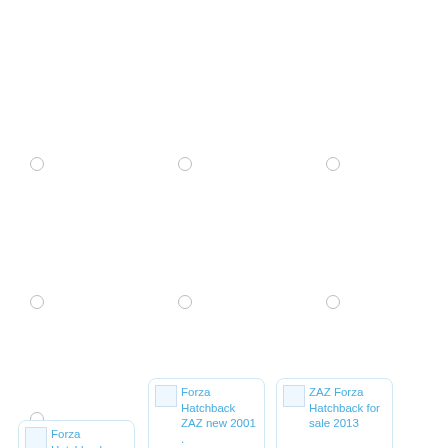[Figure (screenshot): Grid layout of image cards and radio buttons. Row 1: three radio buttons (empty, no cards). Row 2: three radio buttons (empty, no cards). Row 3: one radio button on left, two image cards center and right — 'Forza Hatchback ZAZ new 2001' and 'ZAZ Forza Hatchback for sale 2013'. Row 4: one image card on left — 'Forza Hatchback ZAZ spec 2010'.]